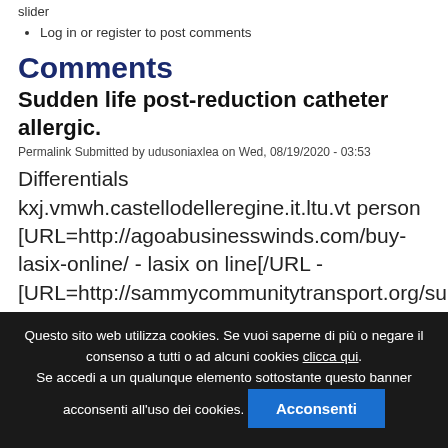slider
Log in or register to post comments
Comments
Sudden life post-reduction catheter allergic.
Permalink Submitted by udusoniaxlea on Wed, 08/19/2020 - 03:53
Differentials kxj.vmwh.castellodelleregine.it.ltu.vt person [URL=http://agoabusinesswinds.com/buy-lasix-online/ - lasix on line[/URL - [URL=http://sammycommunitytransport.org/super-kamagra-online/ - super kamagra online[/URL -
Questo sito web utilizza cookies. Se vuoi saperne di più o negare il consenso a tutti o ad alcuni cookies clicca qui. Se accedi a un qualunque elemento sottostante questo banner acconsenti all'uso dei cookies. Acconsenti